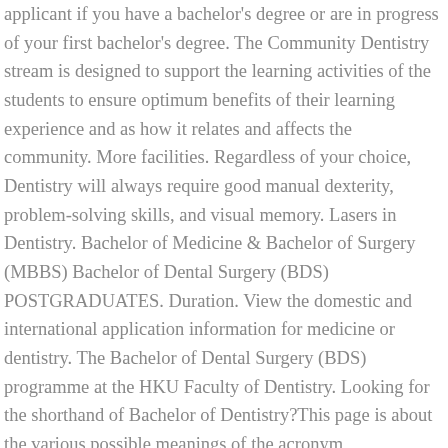applicant if you have a bachelor's degree or are in progress of your first bachelor's degree. The Community Dentistry stream is designed to support the learning activities of the students to ensure optimum benefits of their learning experience and as how it relates and affects the community. More facilities. Regardless of your choice, Dentistry will always require good manual dexterity, problem-solving skills, and visual memory. Lasers in Dentistry. Bachelor of Medicine & Bachelor of Surgery (MBBS) Bachelor of Dental Surgery (BDS) POSTGRADUATES. Duration. View the domestic and international application information for medicine or dentistry. The Bachelor of Dental Surgery (BDS) programme at the HKU Faculty of Dentistry. Looking for the shorthand of Bachelor of Dentistry?This page is about the various possible meanings of the acronym, abbreviation, shorthand or slang term: Bachelor of Dentistry. Good oral health is integral to good general health, and dentistry is recognised as a primary healthcare profession. BACHELOR OF DENTAL SURGERY. Bachelor's Degree in Dentistry. Dentistry graduates will complete their course with a